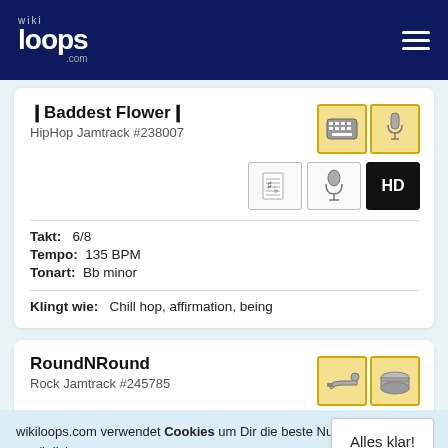wikiloops.com
❙Baddest Flower❙
HipHop Jamtrack #238007
Takt: 6/8
Tempo: 135 BPM
Tonart: Bb minor
Klingt wie: Chill hop, affirmation, being
RoundNRound
Rock Jamtrack #245785
wikiloops.com verwendet Cookies um Dir die beste Nutzererfahrung zu ermöglichen. Lies mehr in unseren Datenschutzbestimmungen .